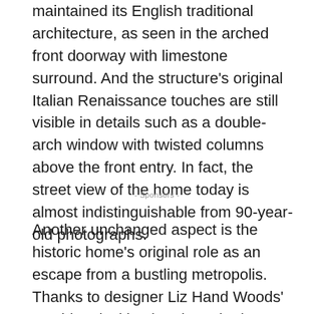maintained its English traditional architecture, as seen in the arched front doorway with limestone surround. And the structure's original Italian Renaissance touches are still visible in details such as a double-arch window with twisted columns above the front entry. In fact, the street view of the home today is almost indistinguishable from 90-year-old photographs.
- Sponsors -
Another unchanged aspect is the historic home's original role as an escape from a bustling metropolis. Thanks to designer Liz Hand Woods' soothing, inviting interiors, the house almost forces